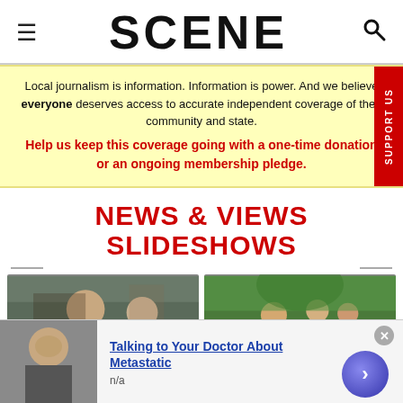SCENE
Local journalism is information. Information is power. And we believe everyone deserves access to accurate independent coverage of their community and state. Help us keep this coverage going with a one-time donation or an ongoing membership pledge.
NEWS & VIEWS SLIDESHOWS
[Figure (photo): Two people at an outdoor event, one wearing glasses and a dark jacket]
[Figure (photo): Group of dancers in colorful outfits under trees]
[Figure (photo): Advertisement: Talking to Your Doctor About Metastatic - woman's face]
Talking to Your Doctor About Metastatic
n/a